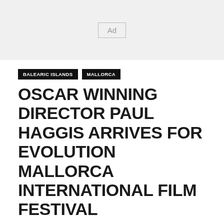[Figure (other): Advertisement banner placeholder with 'Ad' label]
BALEARIC ISLANDS
MALLORCA
OSCAR WINNING DIRECTOR PAUL HAGGIS ARRIVES FOR EVOLUTION MALLORCA INTERNATIONAL FILM FESTIVAL
Over 100 films, documentaries and short movies to screen at Palma event
Staff Reporter 20 Oct 2017 @ 10:07